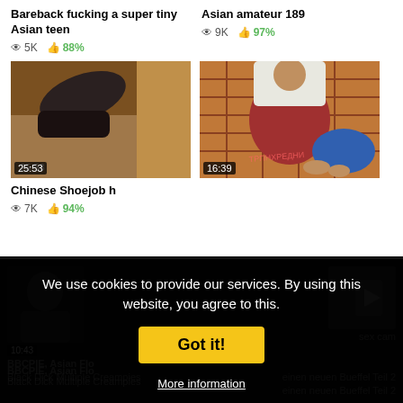Bareback fucking a super tiny Asian teen
👁 5K  👍 88%
Asian amateur 189
👁 9K  👍 97%
[Figure (photo): Video thumbnail showing legs and shoes on a table, duration 25:53]
[Figure (photo): Video thumbnail showing two people on a patterned rug, duration 16:39]
Chinese Shoejob h
👁 7K  👍 94%
We use cookies to provide our services. By using this website, you agree to this.
Got it!
More information
BBCPIE, Asian Flo
Black Dick Multiple Creampies
einen neuen Bueffel Teil 2